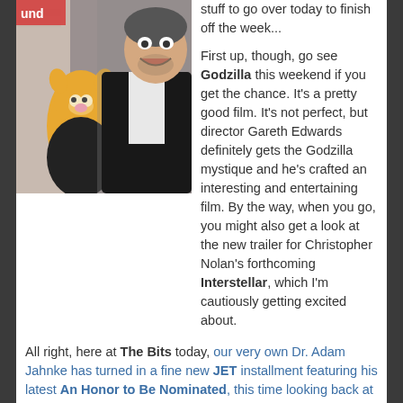[Figure (photo): Photo of Ricky Gervais posing with Miss Piggy and Kermit the Frog Muppet characters, in front of a brick wall with a sign partially visible reading 'und'.]
stuff to go over today to finish off the week...

First up, though, go see Godzilla this weekend if you get the chance. It's a pretty good film. It's not perfect, but director Gareth Edwards definitely gets the Godzilla mystique and he's crafted an interesting and entertaining film. By the way, when you go, you might also get a look at the new trailer for Christopher Nolan's forthcoming Interstellar, which I'm cautiously getting excited about.
All right, here at The Bits today, our very own Dr. Adam Jahnke has turned in a fine new JET installment featuring his latest An Honor to Be Nominated, this time looking back at director Robert Altman's Nashville (1975). Don't miss it. [Read on here...]